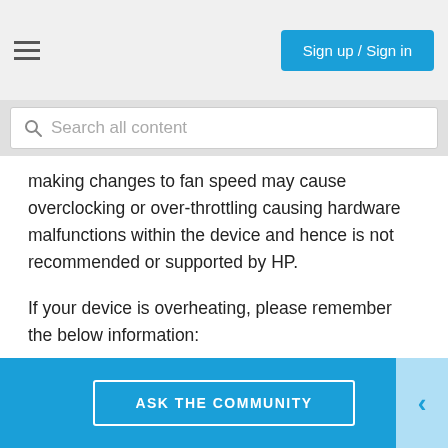Sign up / Sign in
[Figure (screenshot): Search bar with magnifying glass icon and placeholder text 'Search all content']
making changes to fan speed may cause overclocking or over-throttling causing hardware malfunctions within the device and hence is not recommended or supported by HP.
If your device is overheating, please remember the below information:
NOTE: Generally, when temperatures inside the case rise above 35 degrees Celsius (95 degrees Fahrenheit), the risk of damaging important internal components increases greatly.
Also, to avoid CPU damage, we do not recommend throttling
ASK THE COMMUNITY